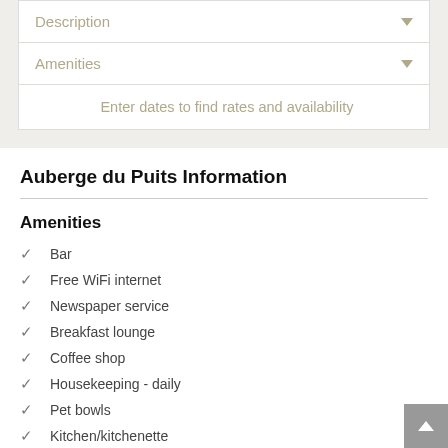Description
Amenities
▲ Enter dates to find rates and availability
Auberge du Puits Information
Amenities
Bar
Free WiFi internet
Newspaper service
Breakfast lounge
Coffee shop
Housekeeping - daily
Pet bowls
Kitchen/kitchenette
Breakfast served in restaurant